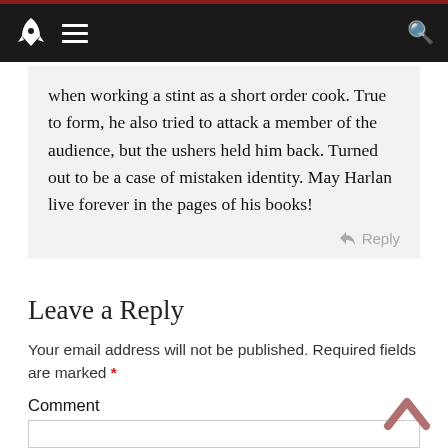Navigation bar with rocket icon, hamburger menu, and search icon
when working a stint as a short order cook. True to form, he also tried to attack a member of the audience, but the ushers held him back. Turned out to be a case of mistaken identity. May Harlan live forever in the pages of his books!
Reply
Leave a Reply
Your email address will not be published. Required fields are marked *
Comment